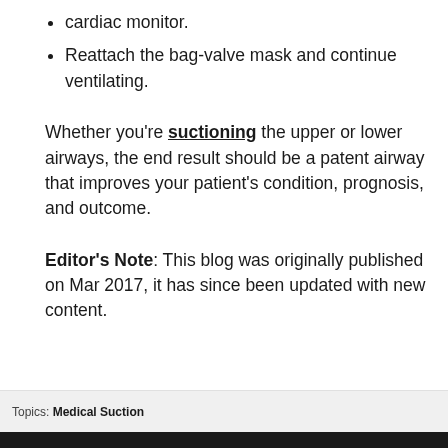cardiac monitor.
Reattach the bag-valve mask and continue ventilating.
Whether you're suctioning the upper or lower airways, the end result should be a patent airway that improves your patient's condition, prognosis, and outcome.
Editor's Note: This blog was originally published on Mar 2017, it has since been updated with new content.
Topics: Medical Suction